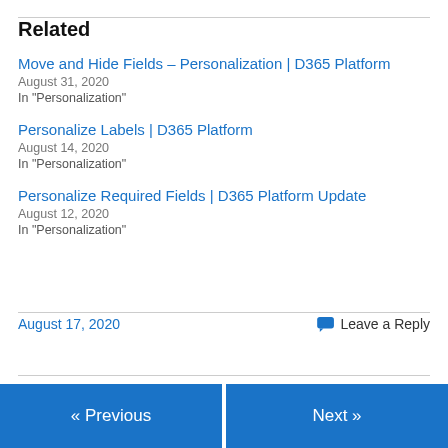Related
Move and Hide Fields – Personalization | D365 Platform
August 31, 2020
In "Personalization"
Personalize Labels | D365 Platform
August 14, 2020
In "Personalization"
Personalize Required Fields | D365 Platform Update
August 12, 2020
In "Personalization"
August 17, 2020   Leave a Reply
« Previous   Next »